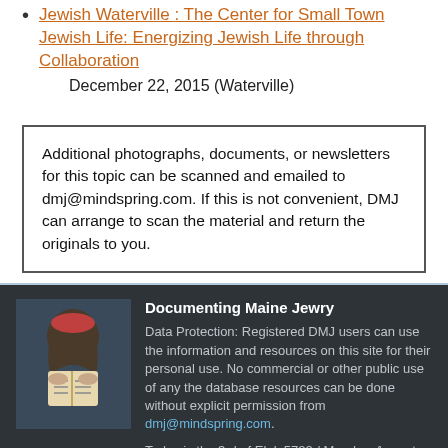Jewish Waterville : The Center for Small Town Jewish Life: Energizing Jewish Life through Collaboration
December 22, 2015 (Waterville)
Additional photographs, documents, or newsletters for this topic can be scanned and emailed to dmj@mindspring.com. If this is not convenient, DMJ can arrange to scan the material and return the originals to you.
Documenting Maine Jewry
Data Protection: Registered DMJ users can use the information and resources on this site for their personal use. No commercial or other public use of any the database resources can be done without explicit permission from dmj@mindspring.com.
Today is the 3rd of Elul, 5782 / Monday, August 29, 2022